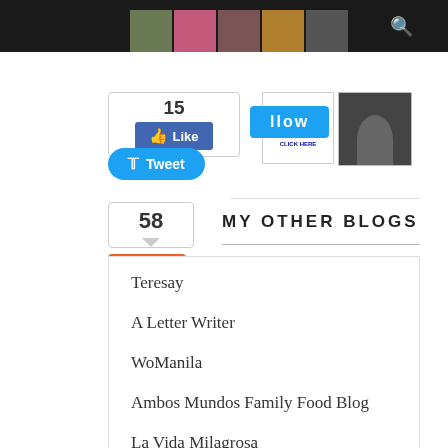[Figure (screenshot): Top navigation bar with dark background and search icon, plus thumbnail images strip]
[Figure (screenshot): Facebook Like button widget showing count of 15 with blue Like button]
[Figure (screenshot): Blue Follow button]
[Figure (screenshot): Twitter Tweet button in blue with bird icon]
[Figure (screenshot): Google+/Share widget showing count of 58 with orange Share button]
MY OTHER BLOGS
Teresay
A Letter Writer
WoManila
Ambos Mundos Family Food Blog
La Vida Milagrosa